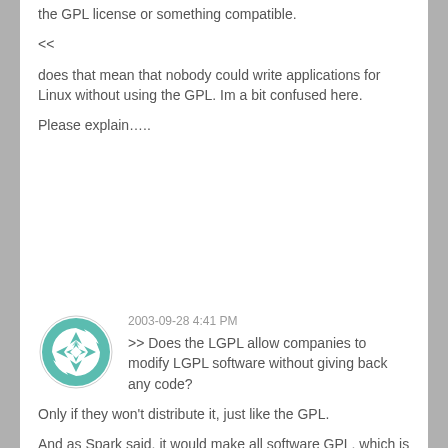the GPL license or something compatible.
<<
does that mean that nobody could write applications for Linux without using the GPL. Im a bit confused here.
Please explain…..
2003-09-28 4:41 PM
[Figure (logo): Teal/green decorative circular avatar logo with geometric star/flower pattern]
>> Does the LGPL allow companies to modify LGPL software without giving back any code?
Only if they won't distribute it, just like the GPL.
And as Spark said, it would make all software GPL, which is _bad_ because it _limits_ choice and it will make Linux/Y _not_ a viable option for the desktop as no company could port programs like Photoshop or whatever to Linux without GPL-ing it (which is often not possible